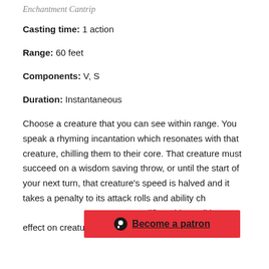Enchantment Cantrip
Casting time: 1 action
Range: 60 feet
Components: V, S
Duration: Instantaneous
Choose a creature that you can see within range. You speak a rhyming incantation which resonates with that creature, chilling them to their core. That creature must succeed on a wisdom saving throw, or until the start of your next turn, that creature's speed is halved and it takes a penalty to its attack rolls and ability ch... g modifier. This spell has no effect on creatures immune to being
[Figure (other): Patreon banner: red background with Patreon icon and 'Become a patron' underlined text]